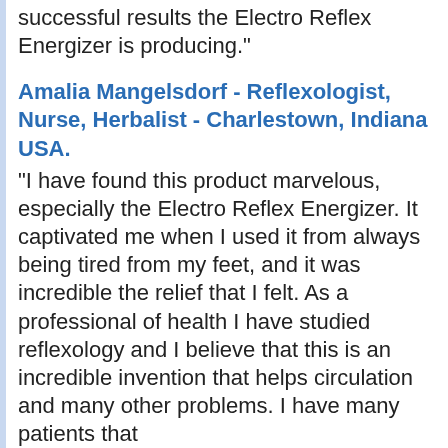successful results the Electro Reflex Energizer is producing."
Amalia Mangelsdorf - Reflexologist, Nurse, Herbalist - Charlestown, Indiana USA.
"I have found this product marvelous, especially the Electro Reflex Energizer. It captivated me when I used it from always being tired from my feet, and it was incredible the relief that I felt. As a professional of health I have studied reflexology and I believe that this is an incredible invention that helps circulation and many other problems. I have many patients that